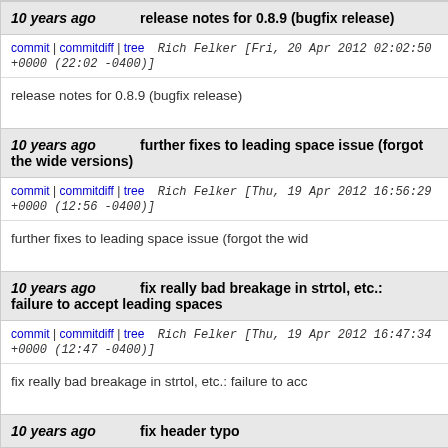10 years ago  release notes for 0.8.9 (bugfix release)
commit | commitdiff | tree   Rich Felker [Fri, 20 Apr 2012 02:02:50 +0000 (22:02 -0400)]
release notes for 0.8.9 (bugfix release)
10 years ago  further fixes to leading space issue (forgot the wide versions)
commit | commitdiff | tree   Rich Felker [Thu, 19 Apr 2012 16:56:29 +0000 (12:56 -0400)]
further fixes to leading space issue (forgot the wid
10 years ago  fix really bad breakage in strtol, etc.: failure to accept leading spaces
commit | commitdiff | tree   Rich Felker [Thu, 19 Apr 2012 16:47:34 +0000 (12:47 -0400)]
fix really bad breakage in strtol, etc.: failure to acc
10 years ago  fix header typo
commit | commitdiff | tree   Rich Felker [Wed, 18 Apr 2012 17:11:35 +0000 (13:11 -0400)]